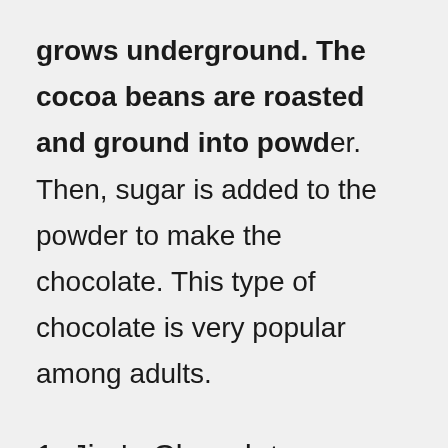grows underground. The cocoa beans are roasted and ground into powder. Then, sugar is added to the powder to make the chocolate. This type of chocolate is very popular among adults.
1. Jim's Chocolate Cheese
Jim's Chocolate Cheese is a